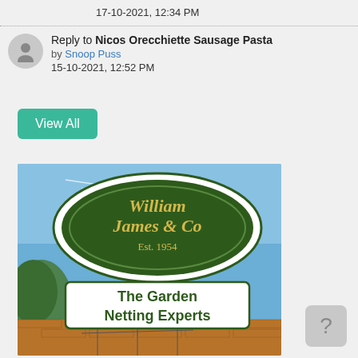17-10-2021, 12:34 PM
Reply to Nicos Orecchiette Sausage Pasta by Snoop Puss 15-10-2021, 12:52 PM
View All
[Figure (photo): Photo of a William James & Co Est. 1954 – The Garden Netting Experts sign outdoors with blue sky and garden netting in background]